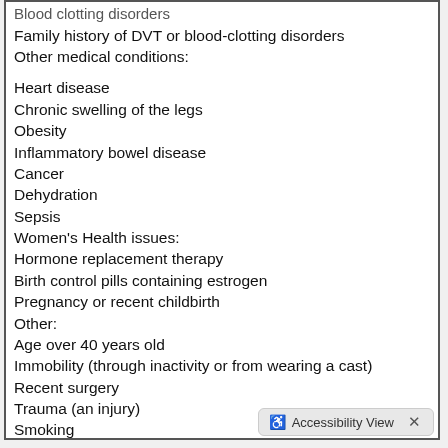Blood clotting disorders (partial, clipped at top)
Family history of DVT or blood-clotting disorders
Other medical conditions:
Heart disease
Chronic swelling of the legs
Obesity
Inflammatory bowel disease
Cancer
Dehydration
Sepsis
Women's Health issues:
Hormone replacement therapy
Birth control pills containing estrogen
Pregnancy or recent childbirth
Other:
Age over 40 years old
Immobility (through inactivity or from wearing a cast)
Recent surgery
Trauma (an injury)
Smoking